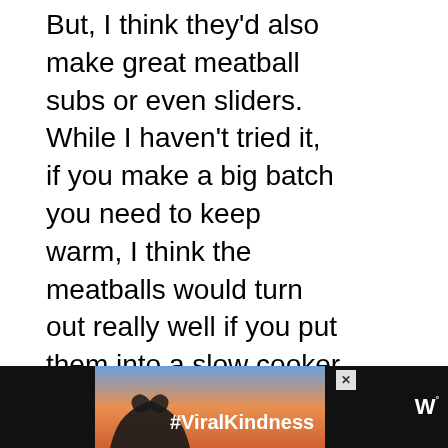But, I think they'd also make great meatball subs or even sliders. While I haven't tried it, if you make a big batch you need to keep warm, I think the meatballs would turn out really well if you put them into a slow cooker after browning and then top with the sauce and cheese and keep them on low.
ADVERTISEMENT
[Figure (screenshot): What's Next panel with meatball thumbnail and text 'Meatball And Vegetable...']
[Figure (screenshot): Ad banner with black background, hands making heart shape, #ViralKindness hashtag, and W logo]